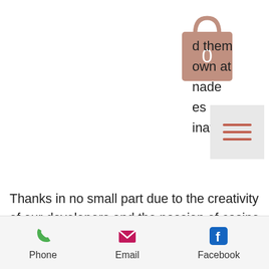[Figure (illustration): Shopping bag icon in muted rose/brown color with the number 0 in the center, representing a cart with 0 items]
d them
own at
ade
es
nation.
[Figure (other): Hamburger menu icon (three horizontal lines) on a light gray background]
Thanks in no small part due to the creativity of our developers and the passion of casino players for our games, our NetEnt slots have topped the charts of the most popular video slots ever since. Find out all things regarding these exciting casino games in our short guide, get to know the best NetEnt casinos with fantastic bonus offers and play the unique NetEnt slots for free or for real money, pala casino deposit bonus code. I WANTED TO PLAY THE DAMN GAME, sumatran storm free slot. But, as I worked
Phone   Email   Facebook